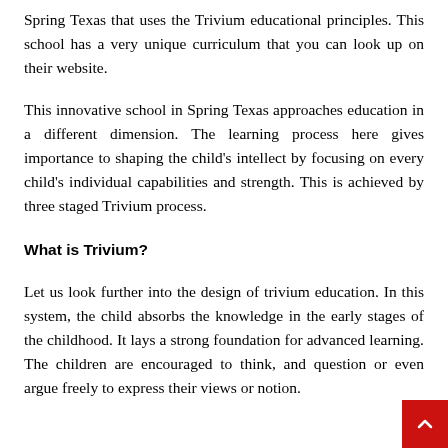Spring Texas that uses the Trivium educational principles. This school has a very unique curriculum that you can look up on their website.
This innovative school in Spring Texas approaches education in a different dimension. The learning process here gives importance to shaping the child's intellect by focusing on every child's individual capabilities and strength. This is achieved by three staged Trivium process.
What is Trivium?
Let us look further into the design of trivium education. In this system, the child absorbs the knowledge in the early stages of the childhood. It lays a strong foundation for advanced learning. The children are encouraged to think, and question or even argue freely to express their views or notion.